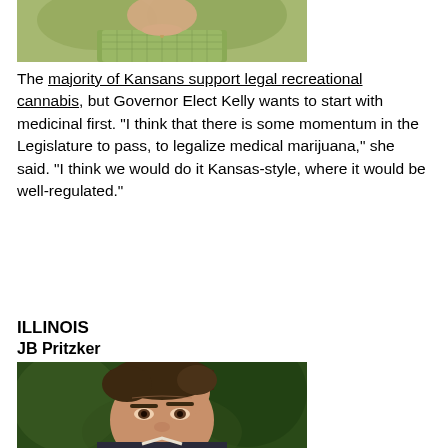[Figure (photo): Photo of a woman (Governor Elect Kelly) wearing a light green checkered shirt, cropped showing lower face and upper body, with green background]
The majority of Kansans support legal recreational cannabis, but Governor Elect Kelly wants to start with medicinal first. “I think that there is some momentum in the Legislature to pass, to legalize medical marijuana,” she said. “I think we would do it Kansas-style, where it would be well-regulated.”
ILLINOIS
JB Pritzker
[Figure (photo): Photo of a man (JB Pritzker) with dark brown swept hair, wearing a dark jacket, with green leafy background. Face visible from forehead to chin.]